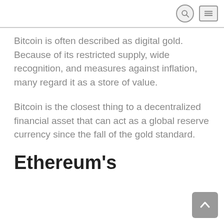Bitcoin is often described as digital gold. Because of its restricted supply, wide recognition, and measures against inflation, many regard it as a store of value.
Bitcoin is the closest thing to a decentralized financial asset that can act as a global reserve currency since the fall of the gold standard.
Ethereum's